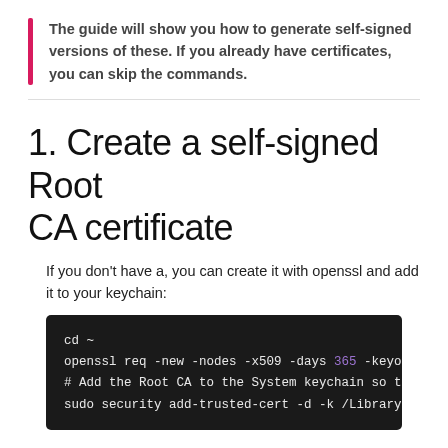The guide will show you how to generate self-signed versions of these. If you already have certificates, you can skip the commands.
1. Create a self-signed Root CA certificate
If you don't have a, you can create it with openssl and add it to your keychain:
[Figure (screenshot): Dark terminal code block showing: cd ~
openssl req -new -nodes -x509 -days 365 -keyo
# Add the Root CA to the System keychain so t
sudo security add-trusted-cert -d -k /Library]
2. Configure TLS f...